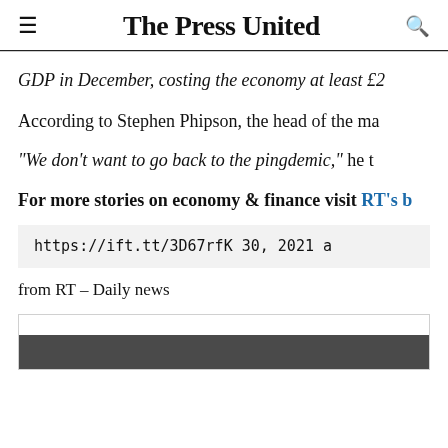The Press United
GDP in December, costing the economy at least £2…
According to Stephen Phipson, the head of the ma…
“We don’t want to go back to the pingdemic,” he t…
For more stories on economy & finance visit RT's b…
https://ift.tt/3D67rfK 30, 2021 a…
from RT – Daily news